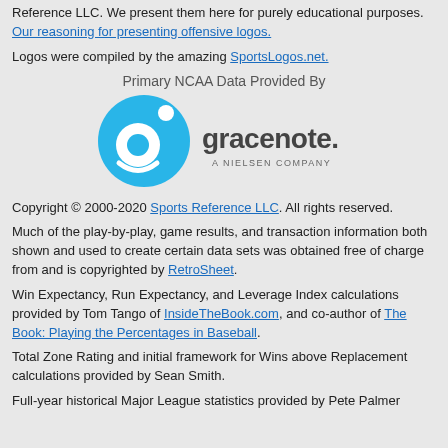Reference LLC. We present them here for purely educational purposes. Our reasoning for presenting offensive logos.
Logos were compiled by the amazing SportsLogos.net.
Primary NCAA Data Provided By
[Figure (logo): Gracenote - A Nielsen Company logo]
Copyright © 2000-2020 Sports Reference LLC. All rights reserved.
Much of the play-by-play, game results, and transaction information both shown and used to create certain data sets was obtained free of charge from and is copyrighted by RetroSheet.
Win Expectancy, Run Expectancy, and Leverage Index calculations provided by Tom Tango of InsideTheBook.com, and co-author of The Book: Playing the Percentages in Baseball.
Total Zone Rating and initial framework for Wins above Replacement calculations provided by Sean Smith.
Full-year historical Major League statistics provided by Pete Palmer